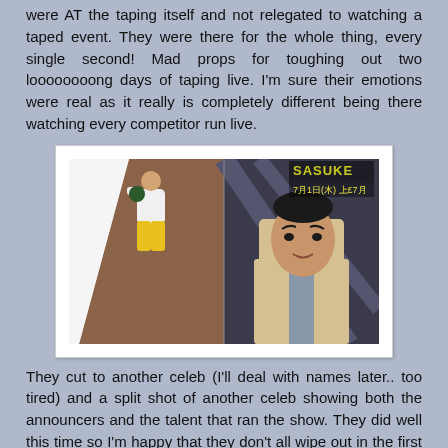were AT the taping itself and not relegated to watching a taped event. They were there for the whole thing, every single second! Mad props for toughing out two loooooooong days of taping live. I'm sure their emotions were real as it really is completely different being there watching every competitor run live.
[Figure (photo): Split image showing a person in yellow pants climbing a tilted obstacle on the left, and a man in a beige suit looking surprised on the right. SASUKE logo visible in the top right corner with Japanese text and a timestamp.]
They cut to another celeb (I'll deal with names later.. too tired) and a split shot of another celeb showing both the announcers and the talent that ran the show. They did well this time so I'm happy that they don't all wipe out in the first obstacle.
[Figure (photo): Partial view of a second image at the bottom of the page, showing what appears to be another TV screenshot.]